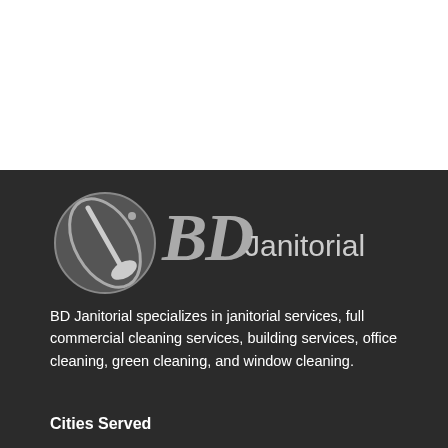[Figure (logo): BD Janitorial logo: circular emblem with a vacuum cleaner/cleaning equipment graphic on the left, followed by stylized 'BD' script lettering and 'Janitorial' in sans-serif text, all in white/grey on dark background]
BD Janitorial specializes in janitorial services, full commercial cleaning services, building services, office cleaning, green cleaning, and window cleaning.
Cities Served